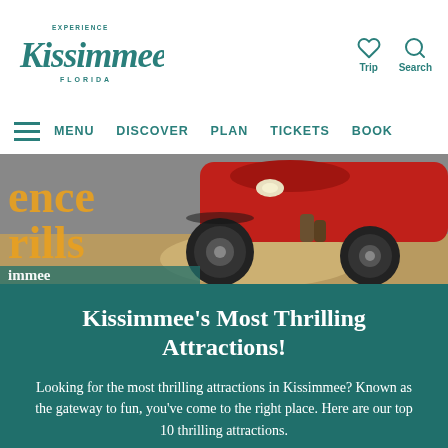Experience Kissimmee Florida | Trip | Search
MENU  DISCOVER  PLAN  TICKETS  BOOK
[Figure (photo): Close-up action photo of red ATV/off-road vehicle with large knobby tires on dirt/sand. Overlaid text in orange/yellow reads 'ence', 'rills', 'immee' (partial words: Experience Thrills Kissimmee).]
Kissimmee's Most Thrilling Attractions!
Looking for the most thrilling attractions in Kissimmee? Known as the gateway to fun, you've come to the right place. Here are our top 10 thrilling attractions.